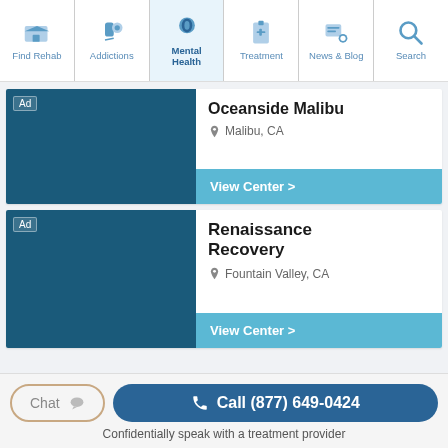Find Rehab | Addictions | Mental Health | Treatment | News & Blog | Search
[Figure (screenshot): Ad image placeholder — dark teal rectangle for Oceanside Malibu listing]
Oceanside Malibu
Malibu, CA
View Center >
[Figure (screenshot): Ad image placeholder — dark teal rectangle for Renaissance Recovery listing]
Renaissance Recovery
Fountain Valley, CA
View Center >
Chat
Call (877) 649-0424
Confidentially speak with a treatment provider